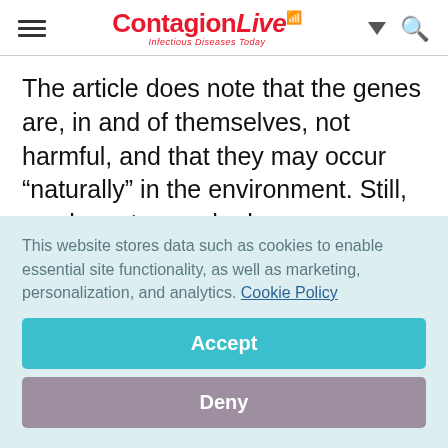ContagionLive — Infectious Diseases Today
The article does note that the genes are, in and of themselves, not harmful, and that they may occur “naturally” in the environment. Still, you have to wonder how many parents in the affected cities took junior to the park the day the article came out.
This website stores data such as cookies to enable essential site functionality, as well as marketing, personalization, and analytics. Cookie Policy
Accept
Deny